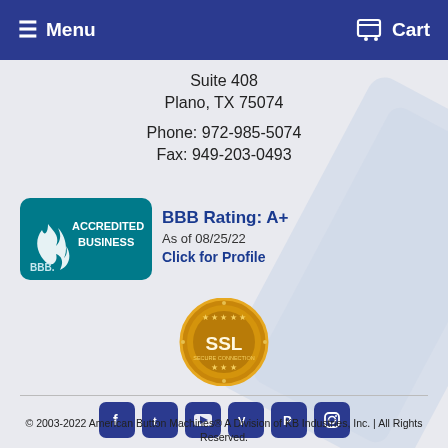Menu  Cart
Suite 408
Plano, TX 75074

Phone: 972-985-5074
Fax: 949-203-0493
[Figure (logo): BBB Accredited Business badge with teal background]
BBB Rating: A+
As of 08/25/22
Click for Profile
[Figure (logo): SSL security seal gold badge]
[Figure (infographic): Social media icons: Facebook, Twitter, YouTube, Vimeo, Pinterest, Instagram]
© 2003-2022 American Button Machines® A Division of KB Industries, Inc. | All Rights Reserved.